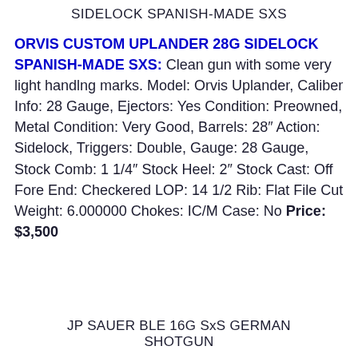SIDELOCK SPANISH-MADE SXS
ORVIS CUSTOM UPLANDER 28G SIDELOCK SPANISH-MADE SXS: Clean gun with some very light handling marks. Model: Orvis Uplander, Caliber Info: 28 Gauge, Ejectors: Yes Condition: Preowned, Metal Condition: Very Good, Barrels: 28″ Action: Sidelock, Triggers: Double, Gauge: 28 Gauge, Stock Comb: 1 1/4″ Stock Heel: 2″ Stock Cast: Off Fore End: Checkered LOP: 14 1/2 Rib: Flat File Cut Weight: 6.000000 Chokes: IC/M Case: No Price: $3,500
JP SAUER BLE 16G SxS GERMAN SHOTGUN